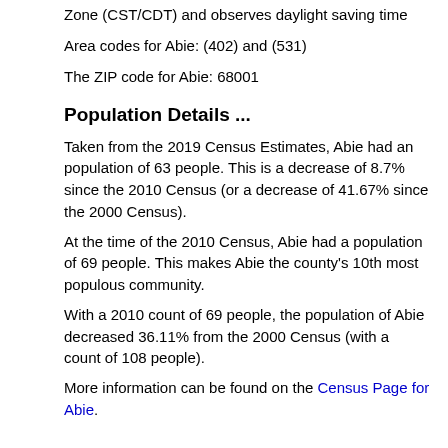Zone (CST/CDT) and observes daylight saving time
Area codes for Abie: (402) and (531)
The ZIP code for Abie: 68001
Population Details ...
Taken from the 2019 Census Estimates, Abie had an population of 63 people. This is a decrease of 8.7% since the 2010 Census (or a decrease of 41.67% since the 2000 Census).
At the time of the 2010 Census, Abie had a population of 69 people. This makes Abie the county's 10th most populous community.
With a 2010 count of 69 people, the population of Abie decreased 36.11% from the 2000 Census (with a count of 108 people).
More information can be found on the Census Page for Abie.